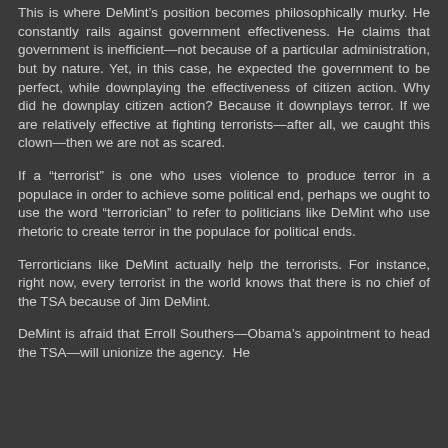This is where DeMint’s position becomes philosophically murky. He constantly rails against government effectiveness. He claims that government is inefficient—not because of a particular administration, but by nature. Yet, in this case, he expected the government to be perfect, while downplaying the effectiveness of citizen action. Why did he downplay citizen action? Because it downplays terror. If we are relatively effective at fighting terrorists—after all, we caught this clown—then we are not as scared.
If a “terrorist” is one who uses violence to produce terror in a populace in order to achieve some political end, perhaps we ought to use the word “terrorician” to refer to politicians like DeMint who use rhetoric to create terror in the populace for political ends.
Terrorticians like DeMint actually help the terrorists. For instance, right now, every terrorist in the world knows that there is no chief of the TSA because of Jim DeMint.
DeMint is afraid that Erroll Southers—Obama’s appointment to head the TSA—will unionize the agency. He